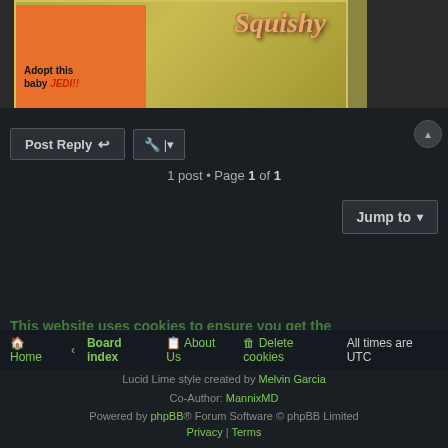[Figure (illustration): Forum banner image showing a cartoon creature in an orange cardboard box with text 'Adopt this baby JEDI!!' and 'Squishy' text on an olive/tan background]
1 post • Page 1 of 1
Jump to
This website uses cookies to ensure you get the best experience on our website. Learn more
Home · Board index   About Us   Delete cookies   All times are UTC
Lucid Lime style created by Melvin Garcia
Co-Author: MannixMD
Powered by phpBB® Forum Software © phpBB Limited
Privacy | Terms